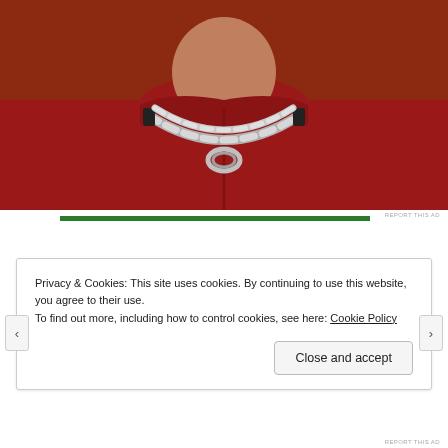[Figure (photo): Close-up photo of a person wearing a dark red/burgundy turtleneck or hoodie with a chunky silver chain necklace. Warm reddish-brown background. Only the neck and upper chest area is visible.]
REPORT THIS AD
Privacy & Cookies: This site uses cookies. By continuing to use this website, you agree to their use.
To find out more, including how to control cookies, see here: Cookie Policy
Close and accept
REPORT THIS AD